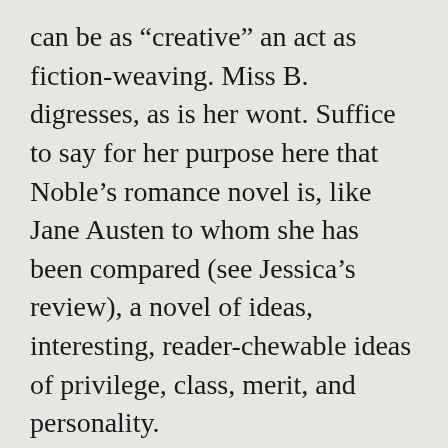can be as “creative” an act as fiction-weaving. Miss B. digresses, as is her wont. Suffice to say for her purpose here that Noble’s romance novel is, like Jane Austen to whom she has been compared (see Jessica’s review), a novel of ideas, interesting, reader-chewable ideas of privilege, class, merit, and personality.
Noble begins with an interesting premise, years before she brings her hero, “Lucky Ned” Granville, Earl of Ashby, and heroine, governess Phoebe Baker, together. Her premise is